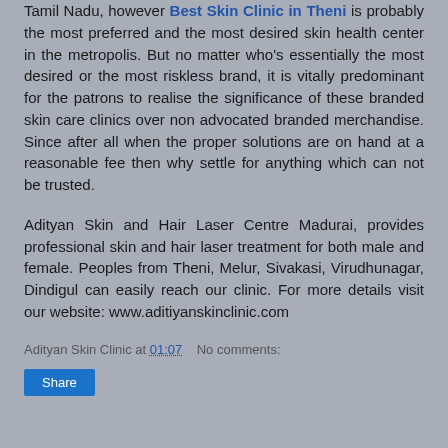Tamil Nadu, however Best Skin Clinic in Theni is probably the most preferred and the most desired skin health center in the metropolis. But no matter who's essentially the most desired or the most riskless brand, it is vitally predominant for the patrons to realise the significance of these branded skin care clinics over non advocated branded merchandise. Since after all when the proper solutions are on hand at a reasonable fee then why settle for anything which can not be trusted.
Adityan Skin and Hair Laser Centre Madurai, provides professional skin and hair laser treatment for both male and female. Peoples from Theni, Melur, Sivakasi, Virudhunagar, Dindigul can easily reach our clinic. For more details visit our website: www.aditiyanskinclinic.com
Adityan Skin Clinic at 01:07   No comments:
Share